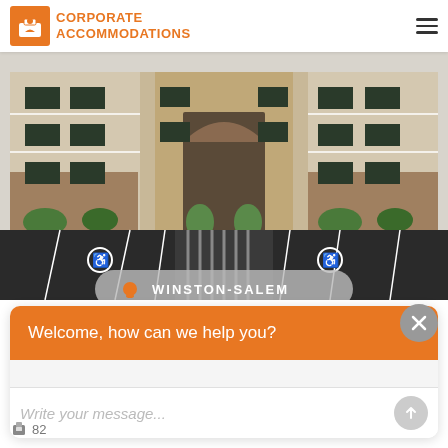Corporate Accommodations
[Figure (photo): Exterior photo of a multi-story apartment/corporate housing building with brick and siding facade, balconies, arched entrance, landscaping, and a parking lot with handicap spaces in the foreground. A location badge overlay reads 'WINSTON-SALEM'.]
Welcome, how can we help you?
Write your message...
82